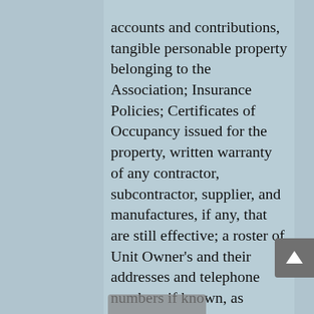accounts and contributions, tangible personable property belonging to the Association; Insurance Policies; Certificates of Occupancy issued for the property, written warranty of any contractor, subcontractor, supplier, and manufactures, if any, that are still effective; a roster of Unit Owner's and their addresses and telephone numbers if known, as shown on the developers records; employment contracts, Management contracts, maintenance contracts, and any service contracts in which the Association is one of the contracting parties; and a copy of the plans and specifications utilized in the construction of the Community including the installation of all mechanical co[...]serving the